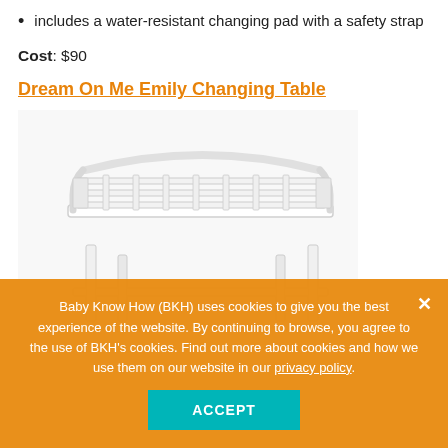Includes a water-resistant changing pad with a safety strap
Cost: $90
Dream On Me Emily Changing Table
[Figure (photo): White changing table (Dream On Me Emily) with lattice-style rails on top and open storage shelf below, viewed at a slight angle.]
Baby Know How (BKH) uses cookies to give you the best experience of the website. By continuing to browse, you agree to the use of BKH's cookies. Find out more about cookies and how we use them on our website in our privacy policy.